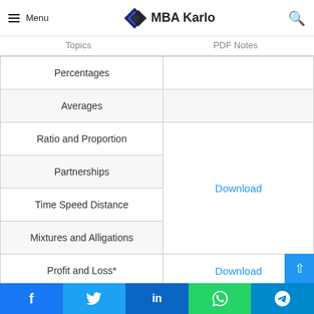MBA Karlo — Menu | Topics | PDF Notes
| Topics | PDF Notes |
| --- | --- |
| Percentages |  |
| Averages |  |
| Ratio and Proportion | Download |
| Partnerships | Download |
| Time Speed Distance | Download |
| Mixtures and Alligations | Download |
| Profit and Loss* | Download |
| Time and Work* | Download |
| Simple and Compound |  |
Facebook | Twitter | LinkedIn | WhatsApp | Telegram